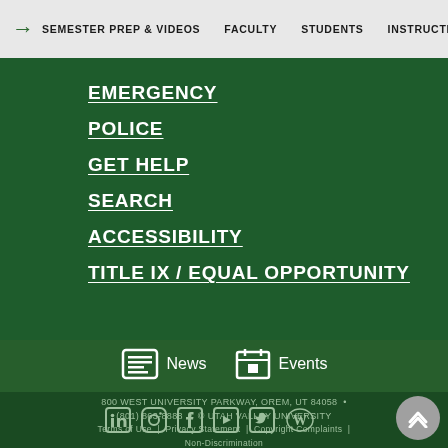→  SEMESTER PREP & VIDEOS   FACULTY   STUDENTS   INSTRUCTIONAL D
EMERGENCY
POLICE
GET HELP
SEARCH
ACCESSIBILITY
TITLE IX / EQUAL OPPORTUNITY
News   Events   800 WEST UNIVERSITY PARKWAY, OREM, UT 84058  •  (801) 863-8888  •  © UTAH VALLEY UNIVERSITY   Terms of Use  |  Privacy Statement  |  Copyright Complaints  |  Non-Discrimination